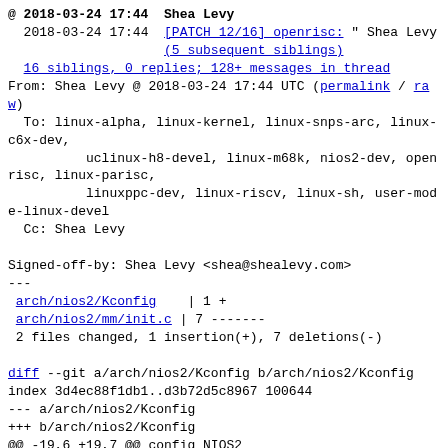@ 2018-03-24 17:44  Shea Levy
  2018-03-24 17:44  [PATCH 12/16] openrisc: " Shea Levy
                    (5 subsequent siblings)
  16 siblings, 0 replies; 128+ messages in thread
From: Shea Levy @ 2018-03-24 17:44 UTC (permalink / raw)
  To: linux-alpha, linux-kernel, linux-snps-arc, linux-c6x-dev,
          uclinux-h8-devel, linux-m68k, nios2-dev, openrisc, linux-parisc,
          linuxppc-dev, linux-riscv, linux-sh, user-mode-linux-devel
  Cc: Shea Levy

Signed-off-by: Shea Levy <shea@shealevy.com>
---
 arch/nios2/Kconfig    | 1 +
 arch/nios2/mm/init.c | 7 -------
 2 files changed, 1 insertion(+), 7 deletions(-)

diff --git a/arch/nios2/Kconfig b/arch/nios2/Kconfig
index 3d4ec88f1db1..d3b72d5c8967 100644
--- a/arch/nios2/Kconfig
+++ b/arch/nios2/Kconfig
@@ -19,6 +19,7 @@ config NIOS2
         select SPARSE_IRQ
         select USB_ARCH_HAS_HCD if USB_SUPPORT
         select CPU_NO_EFFICIENT_FFS
+        select INITRAMFS_GENERIC_UNLOAD